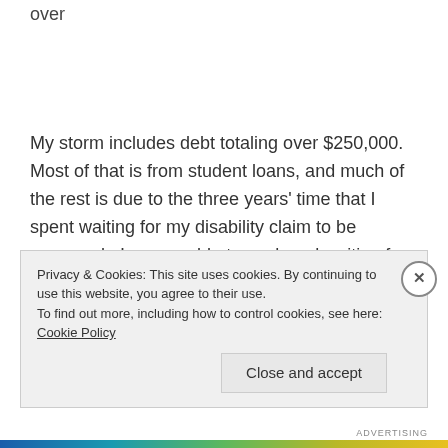over
My storm includes debt totaling over $250,000.  Most of that is from student loans, and much of the rest is due to the three years' time that I spent waiting for my disability claim to be approved.  I was unable to work and waiting for the Social Security Administration to look at the body of proof that I was unable to work and sign off on my meager $750 a month payment.  In the
Privacy & Cookies: This site uses cookies. By continuing to use this website, you agree to their use.
To find out more, including how to control cookies, see here: Cookie Policy
Close and accept